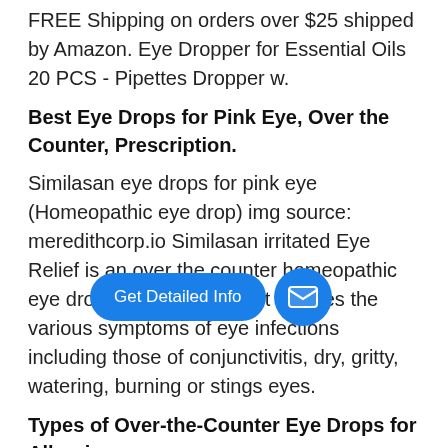FREE Shipping on orders over $25 shipped by Amazon. Eye Dropper for Essential Oils 20 PCS - Pipettes Dropper w.
Best Eye Drops for Pink Eye, Over the Counter, Prescription.
Similasan eye drops for pink eye (Homeopathic eye drop) img source: meredithcorp.io Similasan irritated Eye Relief is an over the counter homeopathic eye drop for the pink eye. It relieves the various symptoms of eye infections including those of conjunctivitis, dry, gritty, watering, burning or stings eyes.
Types of Over-the-Counter Eye Drops for Allergies
Long-Term OTC Eye Drops. There are also OTC eye drops that can be used for longer periods of time. These include ketotifen, marketed under such